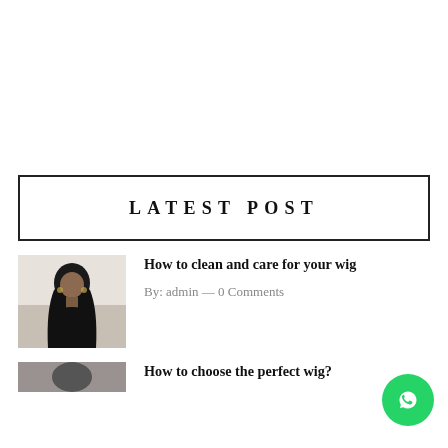LATEST POST
[Figure (photo): Photo of a woman with long black wavy hair wearing a black top]
How to clean and care for your wig
By: admin — 0 Comments
[Figure (photo): Partial photo of another post thumbnail]
How to choose the perfect wig?